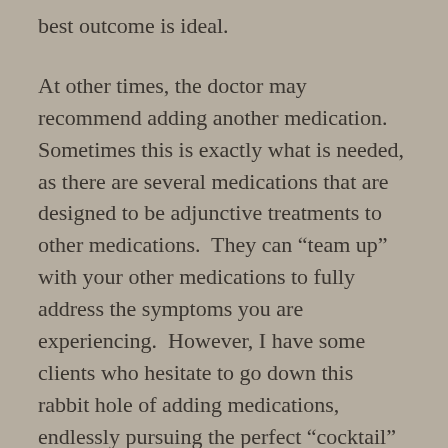best outcome is ideal.
At other times, the doctor may recommend adding another medication.  Sometimes this is exactly what is needed, as there are several medications that are designed to be adjunctive treatments to other medications.  They can “team up” with your other medications to fully address the symptoms you are experiencing.  However, I have some clients who hesitate to go down this rabbit hole of adding medications, endlessly pursuing the perfect “cocktail” that can help them feel better.  While this does sometimes happen, having an open discussion with your doctor about your concern and exploring if there are other options will often be sufficient to avoid